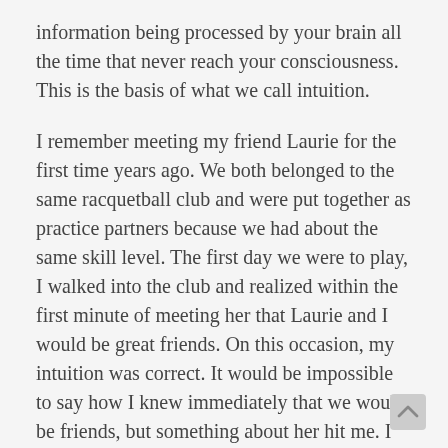information being processed by your brain all the time that never reach your consciousness. This is the basis of what we call intuition.
I remember meeting my friend Laurie for the first time years ago. We both belonged to the same racquetball club and were put together as practice partners because we had about the same skill level. The first day we were to play, I walked into the club and realized within the first minute of meeting her that Laurie and I would be great friends. On this occasion, my intuition was correct. It would be impossible to say how I knew immediately that we would be friends, but something about her hit me. I believe that my brain saw